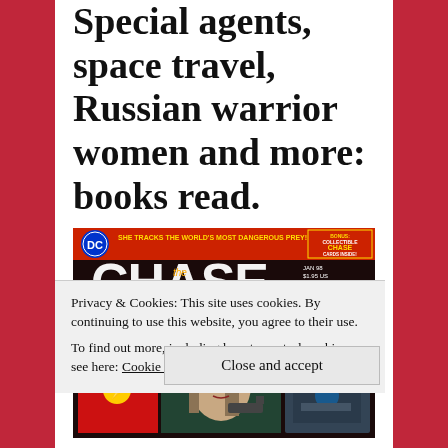Special agents, space travel, Russian warrior women and more: books read.
[Figure (photo): Cover of DC Comics 'Chase' issue — shows a collage of comic panels in film-strip style featuring superheroes including The Flash, a woman with a gun, and text 'She Tracks the World's Most Dangerous Prey!' with bonus Chase Cards offer.]
Privacy & Cookies: This site uses cookies. By continuing to use this website, you agree to their use.
To find out more, including how to control cookies, see here: Cookie Policy
Close and accept